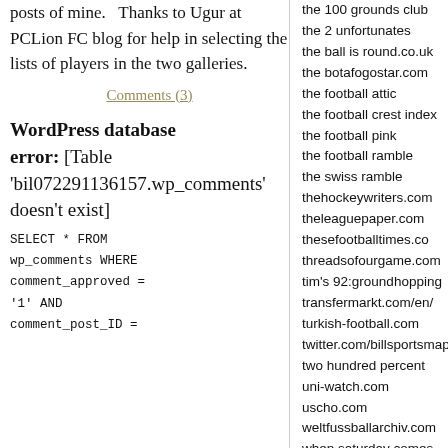posts of mine.   Thanks to Ugur at PCLion FC blog for help in selecting the lists of players in the two galleries.
Comments (3)
WordPress database error:
[Table 'bil072291136157.wp_comments' doesn't exist]
SELECT * FROM wp_comments WHERE comment_approved = '1' AND comment_post_ID =
the 100 grounds club
the 2 unfortunates
the ball is round.co.uk
the botafogostar.com
the football attic
the football crest index
the football pink
the football ramble
the swiss ramble
thehockeywriters.com
theleaguepaper.com
thesefootballtimes.co
threadsofourgame.com
tim's 92:groundhopping
transfermarkt.com/en/
turkish-football.com
twitter.com/billsportsmaps
two hundred percent
uni-watch.com
uscho.com
weltfussballarchiv.com
when saturday comes
who ate all the pies
worldfootball.net
worldfootballindex.com
worldsoccertalk.com
youtube.com/ligue1fr
zonalmarking.net
archives
august 2022
july 2022